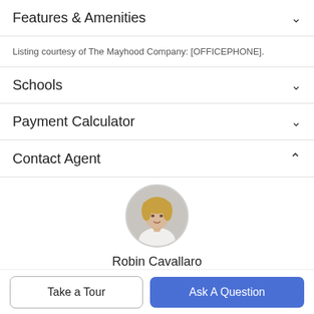Features & Amenities
Listing courtesy of The Mayhood Company: [OFFICEPHONE].
Schools
Payment Calculator
Contact Agent
[Figure (photo): Circular profile photo of Robin Cavallaro, a woman with short blonde hair wearing a white top]
Robin Cavallaro
Associate Broker
Take a Tour
Ask A Question